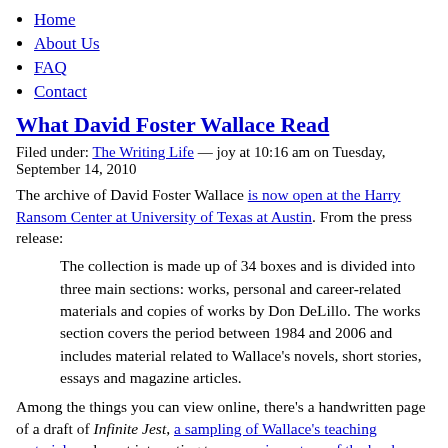Home
About Us
FAQ
Contact
What David Foster Wallace Read
Filed under: The Writing Life — joy at 10:16 am on Tuesday, September 14, 2010
The archive of David Foster Wallace is now open at the Harry Ransom Center at University of Texas at Austin. From the press release:
The collection is made up of 34 boxes and is divided into three main sections: works, personal and career-related materials and copies of works by Don DeLillo. The works section covers the period between 1984 and 2006 and includes material related to Wallace's novels, short stories, essays and magazine articles.
Among the things you can view online, there's a handwritten page of a draft of Infinite Jest, a sampling of Wallace's teaching material, and most interesting to me, an inventory of the books